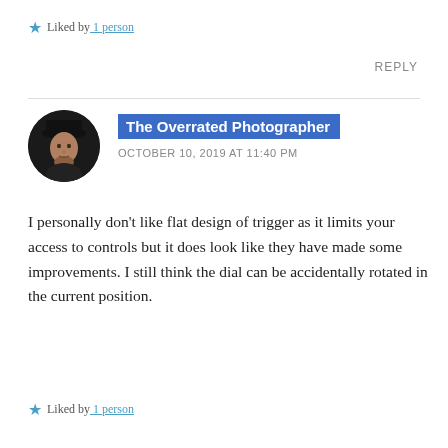Liked by 1 person
REPLY
The Overrated Photographer
OCTOBER 10, 2019 AT 11:40 PM
[Figure (photo): Black and white circular avatar photo of a man wearing a dark hat]
I personally don't like flat design of trigger as it limits your access to controls but it does look like they have made some improvements. I still think the dial can be accidentally rotated in the current position.
Liked by 1 person